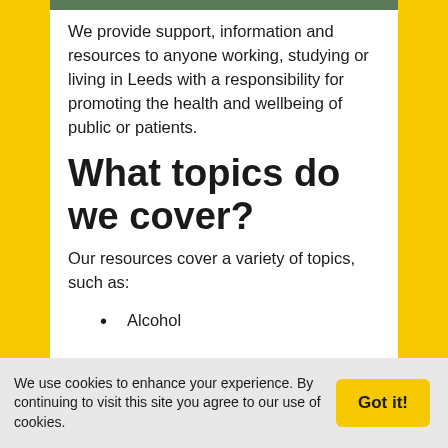[Figure (photo): Image strip at top of page showing a coloured photo]
We provide support, information and resources to anyone working, studying or living in Leeds with a responsibility for promoting the health and wellbeing of public or patients.
What topics do we cover?
Our resources cover a variety of topics, such as:
Alcohol
We use cookies to enhance your experience. By continuing to visit this site you agree to our use of cookies.